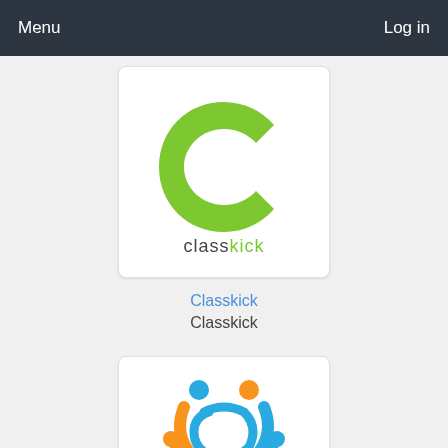Menu    Log in
[Figure (logo): Classkick logo: green C letter above lowercase 'classkick' text where 'kick' is in green]
Classkick
Classkick
[Figure (logo): Collaborative learning platform logo with blue and orange swirling figures forming a circle]